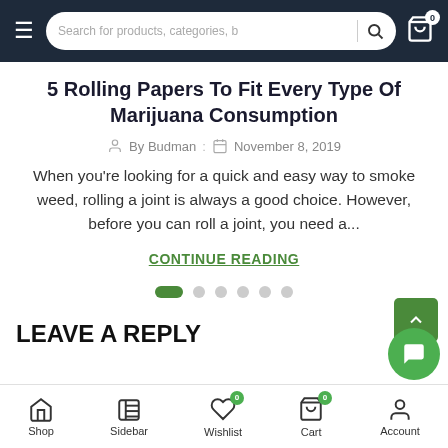Search for products, categories, b
5 Rolling Papers To Fit Every Type Of Marijuana Consumption
By Budman : November 8, 2019
When you're looking for a quick and easy way to smoke weed, rolling a joint is always a good choice. However, before you can roll a joint, you need a...
CONTINUE READING
LEAVE A REPLY
Shop  Sidebar  Wishlist 0  Cart 0  Account